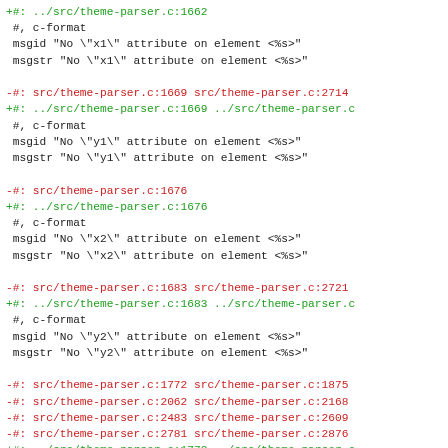+#: ../src/theme-parser.c:1662
 #, c-format
 msgid "No \"x1\" attribute on element <%s>"
 msgstr "No \"x1\" attribute on element <%s>"
-#: src/theme-parser.c:1669 src/theme-parser.c:2714
+#: ../src/theme-parser.c:1669 ../src/theme-parser.c:
 #, c-format
 msgid "No \"y1\" attribute on element <%s>"
 msgstr "No \"y1\" attribute on element <%s>"
-#: src/theme-parser.c:1676
+#: ../src/theme-parser.c:1676
 #, c-format
 msgid "No \"x2\" attribute on element <%s>"
 msgstr "No \"x2\" attribute on element <%s>"
-#: src/theme-parser.c:1683 src/theme-parser.c:2721
+#: ../src/theme-parser.c:1683 ../src/theme-parser.c:
 #, c-format
 msgid "No \"y2\" attribute on element <%s>"
 msgstr "No \"y2\" attribute on element <%s>"
-#: src/theme-parser.c:1772 src/theme-parser.c:1875
-#: src/theme-parser.c:2062 src/theme-parser.c:2168
-#: src/theme-parser.c:2483 src/theme-parser.c:2609
-#: src/theme-parser.c:2781 src/theme-parser.c:2876
+#: ../src/theme-parser.c:1772 ../src/theme-parser.c:
+#: ../src/theme-parser.c:1981 ../src/theme-parser.c:
+#: ../src/theme-parser.c:2168 ...